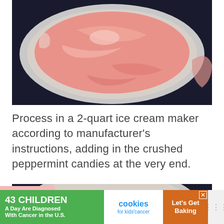[Figure (photo): Top-down view of a round metal ice cream maker bowl filled with pink/salmon colored ice cream mixture, with swirled top surface visible against a dark background]
Process in a 2-quart ice cream maker according to manufacturer's instructions, adding in the crushed peppermint candies at the very end.
[Figure (photo): Partial top view of a round metal ice cream maker bowl, partially cropped at bottom of page]
[Figure (infographic): Advertisement banner: '43 CHILDREN A Day Are Diagnosed With Cancer in the U.S.' with cookies for kids' cancer logo and 'Let's Get Baking' call to action on brown background]